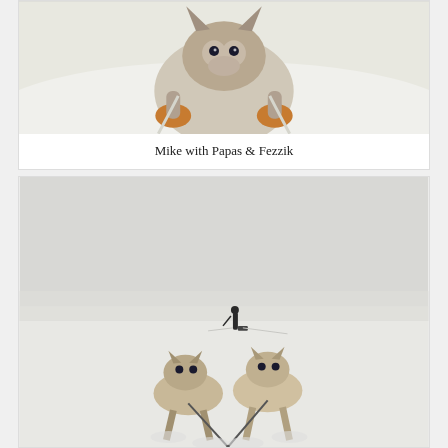[Figure (photo): Close-up photo of sled dogs (huskies) running toward camera on snow, wearing booties, viewed from above/behind the sled]
Mike with Papas & Fezzik
[Figure (photo): Wide snowy landscape with a person (Mike) skiing/mushing in the distance pulling a small sled, and two husky sled dogs in the foreground running on snow]